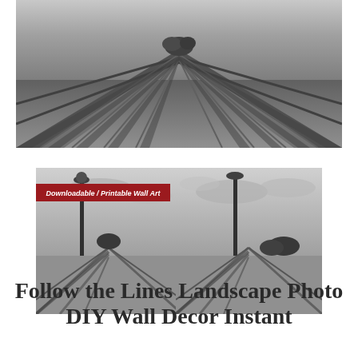[Figure (photo): Black and white landscape photo of a wooden boardwalk/bridge with fence railings receding into the distance in strong perspective, viewed from low angle]
[Figure (photo): Black and white photo thumbnail with red 'Downloadable / Printable Wall Art' banner, showing lamp post and boardwalk with fence in perspective, cloudy sky]
[Figure (photo): Black and white photo thumbnail showing lamp post and boardwalk with fence railings in strong perspective, cloudy sky]
Follow the Lines Landscape Photo DIY Wall Decor Instant